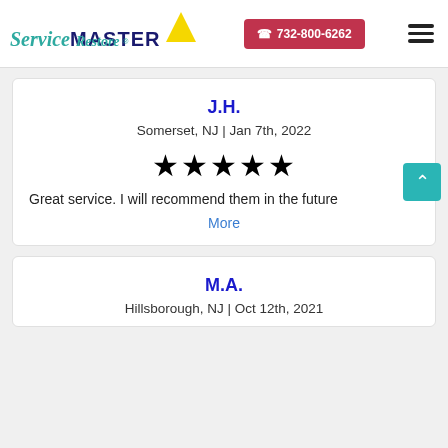[Figure (logo): ServiceMaster Restore logo with teal/green italic 'Service', dark blue bold 'MASTER', yellow triangle, and teal italic 'Restore' text]
732-800-6262
J.H.
Somerset, NJ | Jan 7th, 2022
[Figure (other): Five gold star rating]
Great service. I will recommend them in the future
More
M.A.
Hillsborough, NJ | Oct 12th, 2021